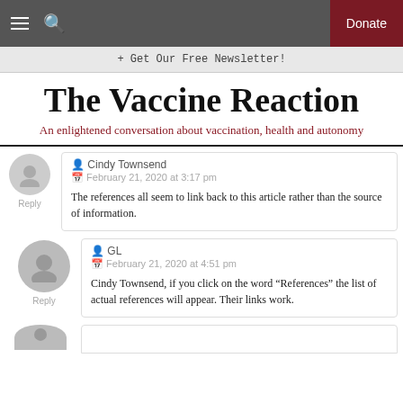The Vaccine Reaction — navigation bar with hamburger, search, Donate
+ Get Our Free Newsletter!
The Vaccine Reaction
An enlightened conversation about vaccination, health and autonomy
Cindy Townsend
February 21, 2020 at 3:17 pm
The references all seem to link back to this article rather than the source of information.
GL
February 21, 2020 at 4:51 pm
Cindy Townsend, if you click on the word "References" the list of actual references will appear. Their links work.